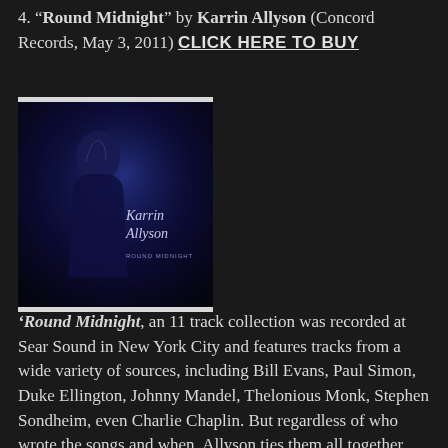4. "Round Midnight" by Karrin Allyson (Concord Records, May 3, 2011) CLICK HERE TO BUY
[Figure (photo): Album cover for 'Round Midnight' by Karrin Allyson showing a woman in dark/blue tones with text 'Karrin Allyson ROUND MIDNIGHT']
'Round Midnight, an 11 track collection was recorded at Sear Sound in New York City and features tracks from a wide variety of sources, including Bill Evans, Paul Simon, Duke Ellington, Johnny Mandel, Thelonious Monk, Stephen Sondheim, even Charlie Chaplin. But regardless of who wrote the songs and when, Allyson ties them all together with the same melancholy thread with which they were originally spun. The three time GRAMMY nominated vocalist describes her new album best in her liner notes: “Imagine yourself, in